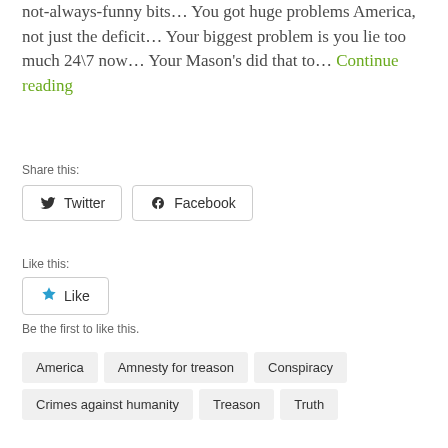not-always-funny bits… You got huge problems America, not just the deficit… Your biggest problem is you lie too much 24\7 now… Your Mason's did that to… Continue reading
Share this:
Twitter
Facebook
Like this:
Like
Be the first to like this.
America
Amnesty for treason
Conspiracy
Crimes against humanity
Treason
Truth